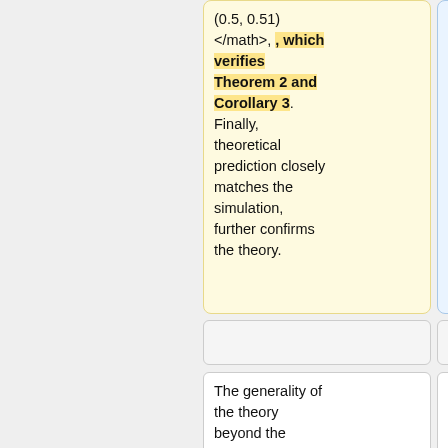(0.5, 0.51) </math>, which verifies Theorem 2 and Corollary 3. Finally, theoretical prediction closely matches the simulation, further confirms the theory.
(0.5, 0.51) </math>. Finally, theoretical prediction closely matches the simulation, further confirms the theory.
The generality of the theory beyond the Gaussian input assumption and the binary classification setting was
The generality of the theory beyond the Gaussian input assumption and the binary classification setting was